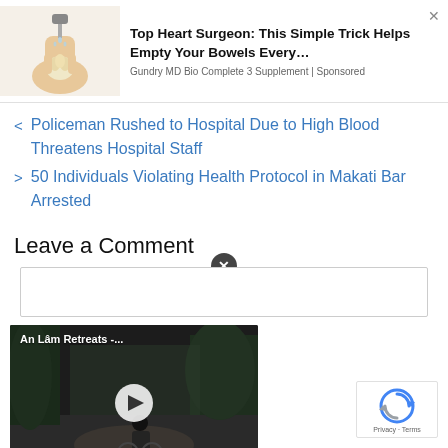[Figure (illustration): Advertisement banner with illustration of a hand washing/garlic image, text: Top Heart Surgeon: This Simple Trick Helps Empty Your Bowels Every… Source: Gundry MD Bio Complete 3 Supplement | Sponsored]
< Policeman Rushed to Hospital Due to High Blood Threatens Hospital Staff
> 50 Individuals Violating Health Protocol in Makati Bar Arrested
Leave a Comment
[Figure (screenshot): Video thumbnail showing 'An Lâm Retreats -...' with a play button overlay, depicting an outdoor nature scene]
[Figure (logo): Google reCAPTCHA badge with Privacy · Terms text]